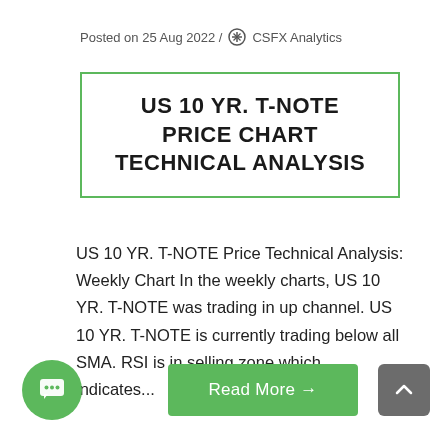Posted on 25 Aug 2022 / CSFX Analytics
US 10 YR. T-NOTE PRICE CHART TECHNICAL ANALYSIS
US 10 YR. T-NOTE Price Technical Analysis: Weekly Chart In the weekly charts, US 10 YR. T-NOTE was trading in up channel. US 10 YR. T-NOTE is currently trading below all SMA. RSI is in selling zone which indicates...
Read More →